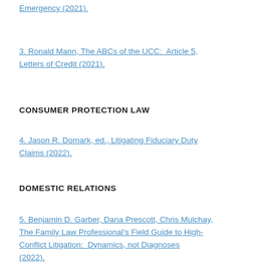Emergency (2021).
3. Ronald Mann, The ABCs of the UCC:  Article 5, Letters of Credit (2021).
CONSUMER PROTECTION LAW
4. Jason R. Domark, ed., Litigating Fiduciary Duty Claims (2022).
DOMESTIC RELATIONS
5. Benjamin D. Garber, Dana Prescott, Chris Mulchay, The Family Law Professional's Field Guide to High-Conflict Litigation:  Dynamics, not Diagnoses (2022).